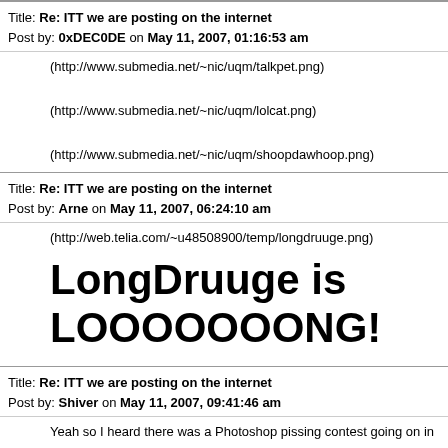Title: Re: ITT we are posting on the internet
Post by: 0xDEC0DE on May 11, 2007, 01:16:53 am
(http://www.submedia.net/~nic/uqm/talkpet.png)
(http://www.submedia.net/~nic/uqm/lolcat.png)
(http://www.submedia.net/~nic/uqm/shoopdawhoop.png)
Title: Re: ITT we are posting on the internet
Post by: Arne on May 11, 2007, 06:24:10 am
(http://web.telia.com/~u48508900/temp/longdruuge.png)
LongDruuge is LOOOOOOONG!
Title: Re: ITT we are posting on the internet
Post by: Shiver on May 11, 2007, 09:41:46 am
Yeah so I heard there was a Photoshop pissing contest going on in my
(http://i211.photobucket.com/albums/bb278/SunBloom/Spathi_Vs_Chr
Might as well give me the cash prize right now.